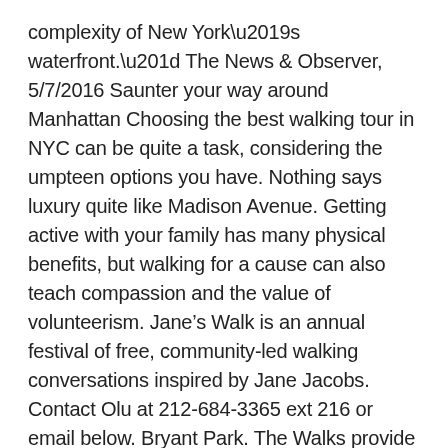complexity of New York’s waterfront.” The News & Observer, 5/7/2016 Saunter your way around Manhattan Choosing the best walking tour in NYC can be quite a task, considering the umpteen options you have. Nothing says luxury quite like Madison Avenue. Getting active with your family has many physical benefits, but walking for a cause can also teach compassion and the value of volunteerism. Jane’s Walk is an annual festival of free, community-led walking conversations inspired by Jane Jacobs. Contact Olu at 212-684-3365 ext 216 or email below. Bryant Park. The Walks provide critical funds for . . . The JDRF One Walk is a community celebration for those living with T1D and the research advancements we've all worked together to achieve. These walks can serve as windows on a rapidly changing city . . . Stonewall 50 – WorldPride NYC 2019 was a series of LGBTQ events and celebrations in June 2019, marking the 50th anniversary of the 1969 Stonewall riots. It